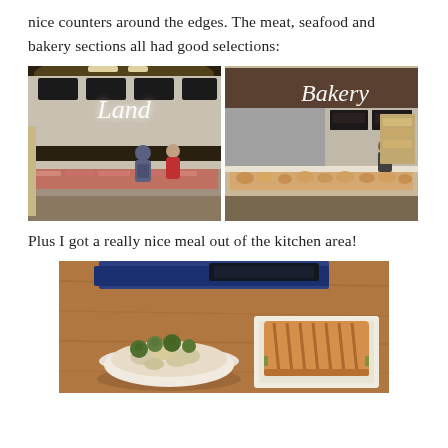nice counters around the edges. The meat, seafood and bakery sections all had good selections:
[Figure (photo): Side-by-side photos of a grocery store: left shows a long refrigerated meat counter with customers browsing under a 'Land' neon sign; right shows a bakery section with display cases under a 'Bakery' neon sign.]
Plus I got a really nice meal out of the kitchen area!
[Figure (photo): Photo of a meal on a wooden table: a bowl of pasta with brussels sprouts on the left, and a grilled panini sandwich on the right, wrapped in white paper.]